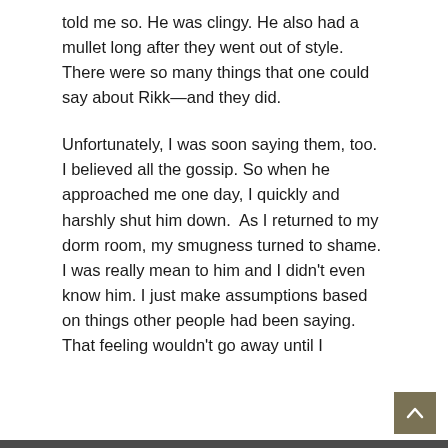told me so. He was clingy. He also had a mullet long after they went out of style. There were so many things that one could say about Rikk—and they did.
Unfortunately, I was soon saying them, too. I believed all the gossip. So when he approached me one day, I quickly and harshly shut him down.  As I returned to my dorm room, my smugness turned to shame. I was really mean to him and I didn't even know him. I just make assumptions based on things other people had been saying. That feeling wouldn't go away until I